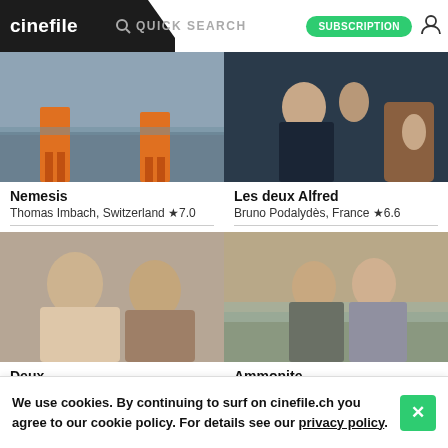cinefile | QUICK SEARCH | SUBSCRIPTION
[Figure (photo): Movie still from Nemesis showing two workers in orange suits on a wet road]
Nemesis
Thomas Imbach, Switzerland ★7.0
[Figure (photo): Movie still from Les deux Alfred showing a woman holding a baby and a child beside a vehicle]
Les deux Alfred
Bruno Podalydès, France ★6.6
[Figure (photo): Movie still from Deux showing two women together]
Deux
Filippo Meneghetti, Belgium ★7.2
[Figure (photo): Movie still from Ammonite showing two women close together on a beach]
Ammonite
Francis Lee, UK ★6.5
We use cookies. By continuing to surf on cinefile.ch you agree to our cookie policy. For details see our privacy policy.